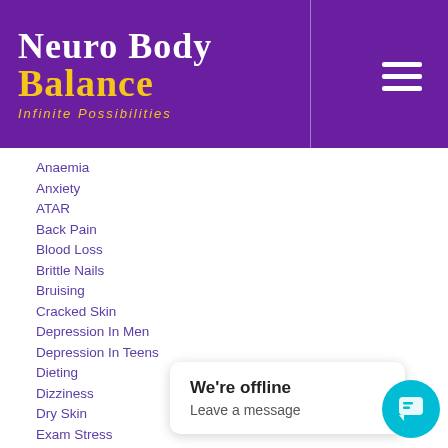[Figure (logo): Neuro Body Balance logo with purple background, white and yellow text, 'Infinite Possibilities' tagline, and hamburger menu icon]
Anaemia
Anxiety
ATAR
Back Pain
Blood Loss
Brittle Nails
Bruising
Cracked Skin
Depression In Men
Depression In Teens
Dieting
Dizziness
Dry Skin
Exam Stress
Exercise
Failure
Fatigue
Female Hormones
Goals
Heaches
Heart Palipitations
Heavy Periods
Hormones
Hot Flus…
We're offline
Leave a message